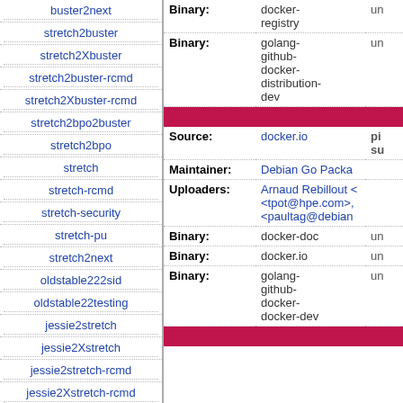buster2next
stretch2buster
stretch2Xbuster
stretch2buster-rcmd
stretch2Xbuster-rcmd
stretch2bpo2buster
stretch2bpo
stretch
stretch-rcmd
stretch-security
stretch-pu
stretch2next
oldstable222sid
oldstable22testing
jessie2stretch
jessie2Xstretch
jessie2stretch-rcmd
jessie2Xstretch-rcmd
| Label | Value | Extra |
| --- | --- | --- |
| Binary: | docker-registry | un... |
| Binary: | golang-github-docker-distribution-dev | un... |
| Source: | docker.io | pi... su... |
| Maintainer: | Debian Go Packa... |  |
| Uploaders: | Arnaud Rebillout <tpot@hpe.com>, <paultag@debian...> |  |
| Binary: | docker-doc | un... |
| Binary: | docker.io | un... |
| Binary: | golang-github-docker-docker-dev | un... |